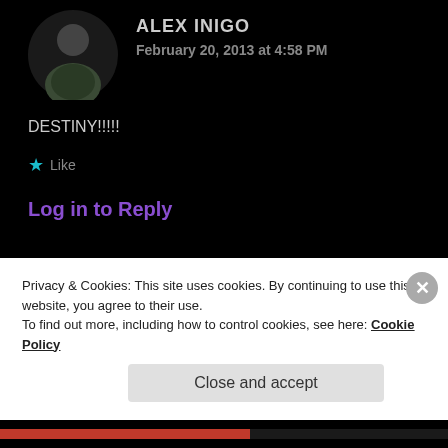ALEX INIGO
February 20, 2013 at 4:58 PM
DESTINY!!!!!
★ Like
Log in to Reply
[Figure (photo): Avatar of Ari Margo — circular avatar with geometric purple/lavender snowflake pattern on white background]
ARI MARGO
February 20, 2013 at 4:58 PM
Privacy & Cookies: This site uses cookies. By continuing to use this website, you agree to their use. To find out more, including how to control cookies, see here: Cookie Policy
Close and accept